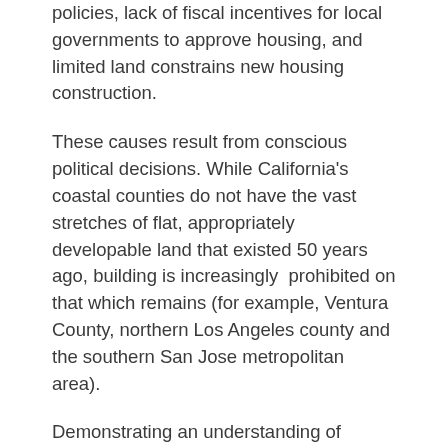policies, lack of fiscal incentives for local governments to approve housing, and limited land constrains new housing construction.
These causes result from conscious political decisions. While California's coastal counties do not have the vast stretches of flat, appropriately developable land that existed 50 years ago, building is increasingly  prohibited on that which remains (for example, Ventura County, northern Los Angeles county and the southern San Jose metropolitan area).
Demonstrating an understanding of economic basics not generally shared by California policymakers or the urban planning community, LAO squarely places the blame on the public policy limits to new housing construction:
This competition bids up home prices and rents.